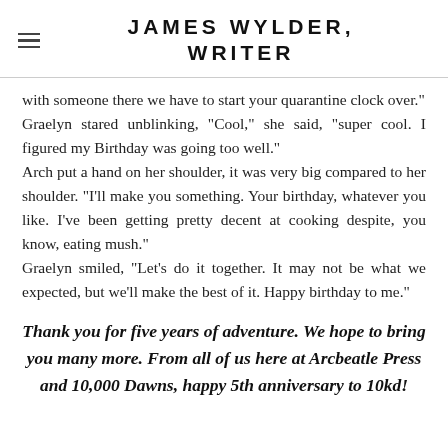JAMES WYLDER, WRITER
with someone there we have to start your quarantine clock over."
Graelyn stared unblinking, "Cool," she said, "super cool. I figured my Birthday was going too well."
Arch put a hand on her shoulder, it was very big compared to her shoulder. "I'll make you something. Your birthday, whatever you like. I've been getting pretty decent at cooking despite, you know, eating mush."
Graelyn smiled, "Let's do it together. It may not be what we expected, but we'll make the best of it. Happy birthday to me."
Thank you for five years of adventure. We hope to bring you many more. From all of us here at Arcbeatle Press and 10,000 Dawns, happy 5th anniversary to 10kd!